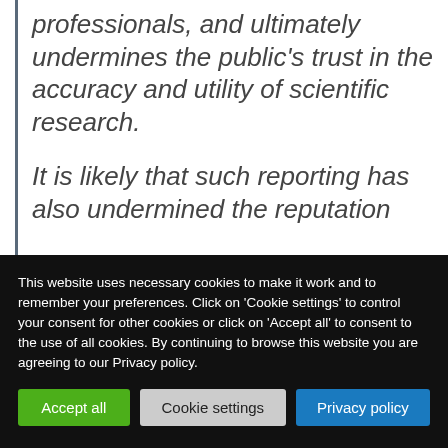professionals, and ultimately undermines the public's trust in the accuracy and utility of scientific research.
It is likely that such reporting has also undermined the reputation
This website uses necessary cookies to make it work and to remember your preferences. Click on 'Cookie settings' to control your consent for other cookies or click on 'Accept all' to consent to the use of all cookies. By continuing to browse this website you are agreeing to our Privacy policy.